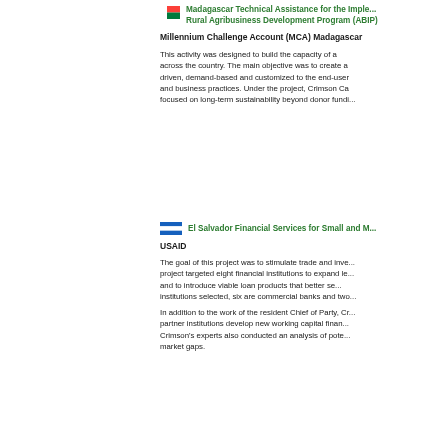Madagascar Technical Assistance for the Implementation of the Rural Agribusiness Development Program (ABIP)
Millennium Challenge Account (MCA) Madagascar
This activity was designed to build the capacity of a wide range of agribusinesses across the country. The main objective was to create a training model that is market-driven, demand-based and customized to the end-user's specific business needs and business practices. Under the project, Crimson Capital Corp. (Crimson) also focused on long-term sustainability beyond donor funding.
El Salvador Financial Services for Small and Medium Enterprises
USAID
The goal of this project was to stimulate trade and investment in El Salvador. The project targeted eight financial institutions to expand lending to small enterprises and to introduce viable loan products that better serve this market. Of the eight institutions selected, six are commercial banks and two are non-bank financial entities.
In addition to the work of the resident Chief of Party, Crimson's experts assisted partner institutions develop new working capital financing products and processes. Crimson's experts also conducted an analysis of potential market opportunities and market gaps.